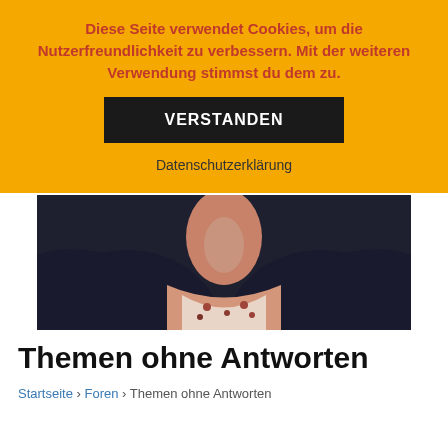Diese Seite verwendet Cookies, um die Nutzerfreundlichkeit zu verbessern. Mit der weiteren Verwendung stimmst du dem zu.
VERSTANDEN
Datenschutzerklärung
[Figure (photo): Photo of a person wearing a dark blazer and floral top, partially visible from neck down, with dark background]
Themen ohne Antworten
Startseite › Foren › Themen ohne Antworten